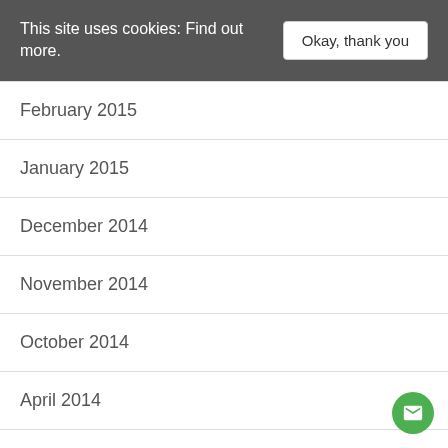This site uses cookies: Find out more.
February 2015
January 2015
December 2014
November 2014
October 2014
April 2014
March 2014